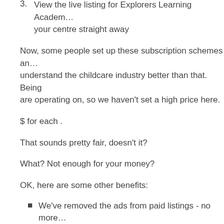3. View the live listing for Explorers Learning Academy - your centre straight away
Now, some people set up these subscription schemes and understand the childcare industry better than that. Being are operating on, so we haven't set a high price here.
$ for each .
That sounds pretty fair, doesn't it?
What? Not enough for your money?
OK, here are some other benefits:
We've removed the ads from paid listings - no more
We're pushing paid listings to the top of the nearby neighbourhood!
We'll put you on the front page! That has to help par subscriptions, we'll rotate the homepage so everyon